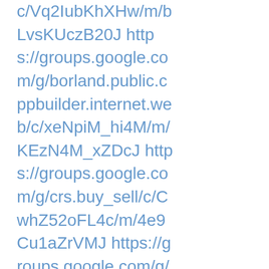c/Vq2IubKhXHw/m/bLvsKUczB20J https://groups.google.com/g/borland.public.cppbuilder.internet.web/c/xeNpiM_hi4M/m/KEzN4M_xZDcJ https://groups.google.com/g/crs.buy_sell/c/CwhZ52oFL4c/m/4e9Cu1aZrVMJ https://groups.google.com/g/aus.audio-visual.home-cinema/c/vokRpzqEN9s/m/7v77t8O-jAAJ https://groups.google.com/g/aus.rec.climbing/c/BD0feaNk4QE/m/6qBg7pxSZUAJ https://groups.google.com/g/sfnet.harrastus.rahapelit/c/mmJzgJ7tp-Q/m/qi_7BkzyYdkJ https://groups.google.com/g/rec.arts.theatre.misc/c/vVqHsDIYHqE/m/9Aq3ihTVPNMJ https://groups.google.c